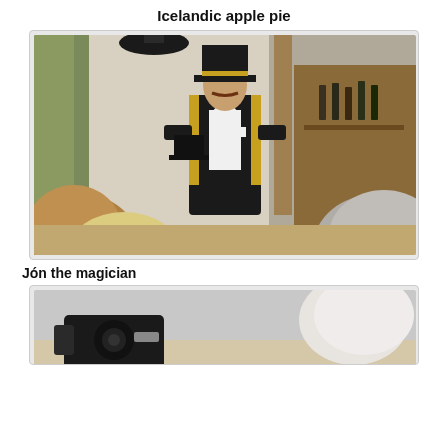Icelandic apple pie
[Figure (photo): A man dressed as a magician in a black tailcoat with gold trim and a tall top hat, holding a black top hat, standing in what appears to be a bar or restaurant venue. Audience members are visible from behind in the foreground.]
Jón the magician
[Figure (photo): Partial view of another scene, showing a person and what appears to be a camera or equipment, cropped at the bottom of the page.]